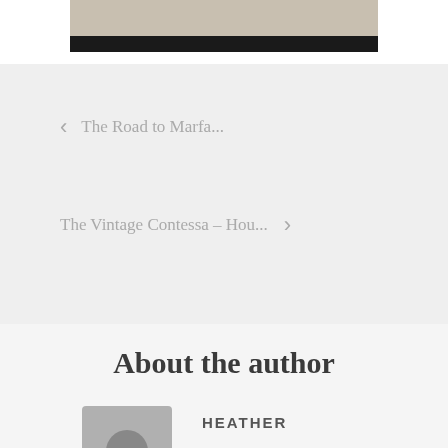[Figure (photo): Partial view of fashion/interior image with black bar at bottom]
< The Road to Marfa...
The Vintage Contessa – Hou... >
About the author
HEATHER